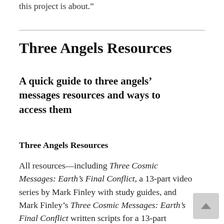this project is about.”
Three Angels Resources
A quick guide to three angels’ messages resources and ways to access them
Three Angels Resources
All resources—including Three Cosmic Messages: Earth’s Final Conflict, a 13-part video series by Mark Finley with study guides, and Mark Finley’s Three Cosmic Messages: Earth’s Final Conflict written scripts for a 13-part evangelistic series